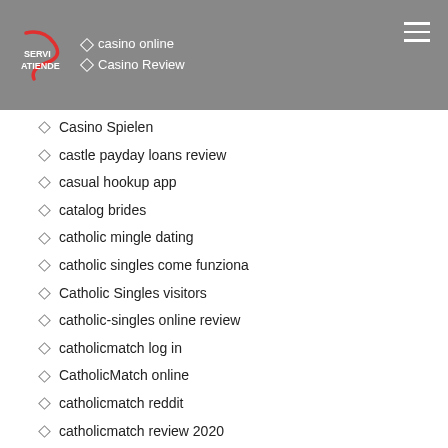casino online | Casino Review
Casino Spielen
castle payday loans review
casual hookup app
catalog brides
catholic mingle dating
catholic singles come funziona
Catholic Singles visitors
catholic-singles online review
catholicmatch log in
CatholicMatch online
catholicmatch reddit
catholicmatch review 2020
catholicmatch reviews
catholicmatch reviews coupon
catholicmatch reviews log in